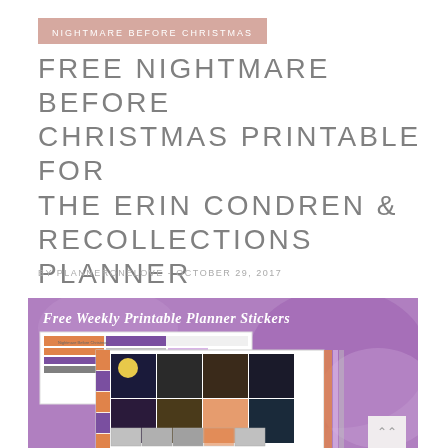NIGHTMARE BEFORE CHRISTMAS
FREE NIGHTMARE BEFORE CHRISTMAS PRINTABLE FOR THE ERIN CONDREN & RECOLLECTIONS PLANNER
BY PLANNERONELOVE - OCTOBER 29, 2017
[Figure (screenshot): A promotional image showing Free Weekly Printable Planner Stickers with a purple watercolor background and Nightmare Before Christmas themed sticker sheets]